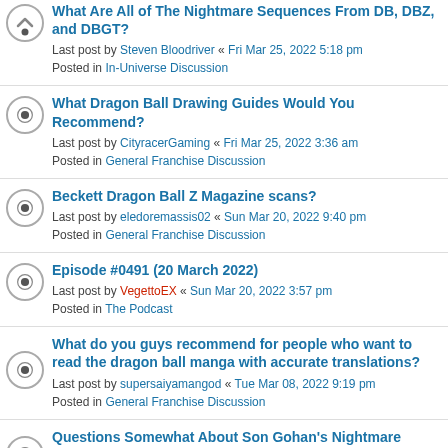What Are All of The Nightmare Sequences From DB, DBZ, and DBGT?
Last post by Steven Bloodriver « Fri Mar 25, 2022 5:18 pm
Posted in In-Universe Discussion
What Dragon Ball Drawing Guides Would You Recommend?
Last post by CityracerGaming « Fri Mar 25, 2022 3:36 am
Posted in General Franchise Discussion
Beckett Dragon Ball Z Magazine scans?
Last post by eledoremassis02 « Sun Mar 20, 2022 9:40 pm
Posted in General Franchise Discussion
Episode #0491 (20 March 2022)
Last post by VegettoEX « Sun Mar 20, 2022 3:57 pm
Posted in The Podcast
What do you guys recommend for people who want to read the dragon ball manga with accurate translations?
Last post by supersaiyamangod « Tue Mar 08, 2022 9:19 pm
Posted in General Franchise Discussion
Questions Somewhat About Son Gohan's Nightmare About Frieza...
Last post by Steven Bloodriver « Thu Feb 24, 2022 3:37 pm
Posted in In-Universe Discussion